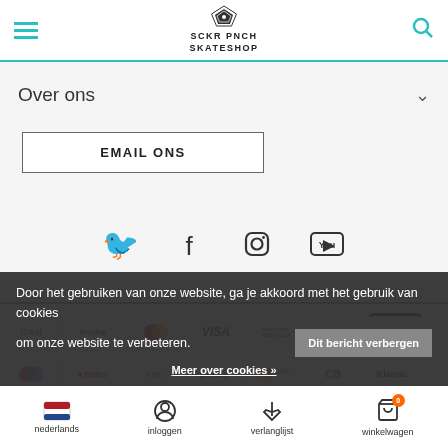SCKR PNCH SKATESHOP
Over ons
EMAIL ONS
[Figure (other): Social media icons: Facebook, Instagram, YouTube]
[Figure (other): Payment method badges: iDeal, PayPal, Mastercard, VISA, Belfius MasterCard, ING, VISA, Maestro, Belfius, KBC, giropay, ING, CB, Klarna]
Door het gebruiken van onze website, ga je akkoord met het gebruik van cookies om onze website te verbeteren. Dit bericht verbergen
Meer over cookies »
nederlands | inloggen | verlanglijst | winkelwagen